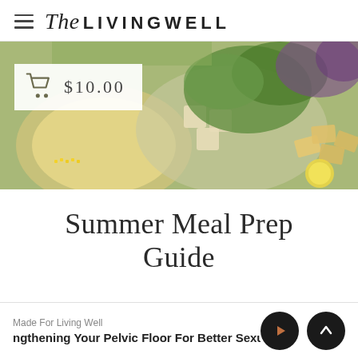The LIVING WELL
[Figure (photo): Food photo showing bowls with tofu, greens, cilantro, corn, and crackers. A white overlay shows a shopping cart icon and price $10.00]
Summer Meal Prep Guide
Made For Living Well — ngthening Your Pelvic Floor For Better Sexual